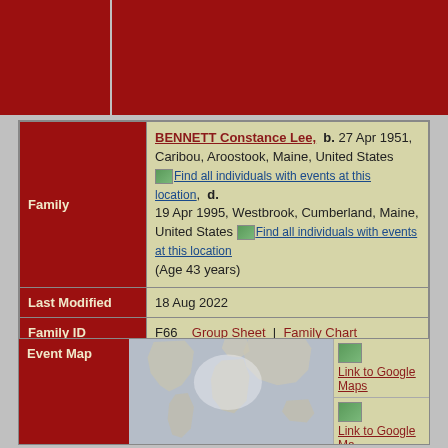| Field | Value |
| --- | --- |
| Family | BENNETT Constance Lee, b. 27 Apr 1951, Caribou, Aroostook, Maine, United States [Find all individuals with events at this location], d. 19 Apr 1995, Westbrook, Cumberland, Maine, United States [Find all individuals with events at this location] (Age 43 years) |
| Last Modified | 18 Aug 2022 |
| Family ID | F66 | Group Sheet | Family Chart |
[Figure (map): Event Map showing world map with links to Google Maps]
Link to Google Maps
Link to Google Maps
Link to Google Maps